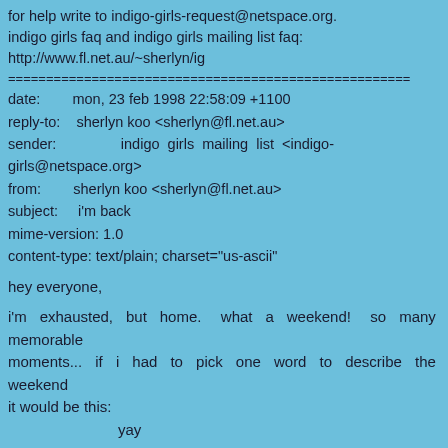for help write to indigo-girls-request@netspace.org.
indigo girls faq and indigo girls mailing list faq:
http://www.fl.net.au/~sherlyn/ig
======================================================
date:        mon, 23 feb 1998 22:58:09 +1100
reply-to:    sherlyn koo <sherlyn@fl.net.au>
sender:                indigo girls mailing list <indigo-girls@netspace.org>
from:        sherlyn koo <sherlyn@fl.net.au>
subject:     i'm back
mime-version: 1.0
content-type: text/plain; charset="us-ascii"
hey everyone,
i'm exhausted, but home.  what a weekend!  so many memorable
moments...  if i had to pick one word to describe the weekend
it would be this:
        yay
*grin*
the concerts were, of course, both amazing.  saturday